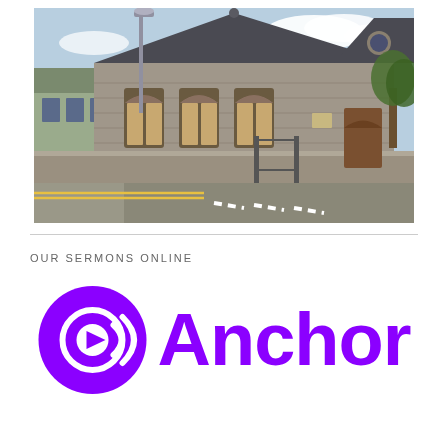[Figure (photo): Photograph of a stone church building with slate roof, arched windows with wooden shutters, a gabled front facade with decorative circular element, a wooden door entrance on the right side, surrounded by a stone wall, street with yellow road markings in the foreground, street light pole visible, clear blue sky background.]
OUR SERMONS ONLINE
[Figure (logo): Anchor FM podcast platform logo: purple circle with arrow-in-circle icon and radio wave arcs, followed by the word 'Anchor' in bold purple text.]